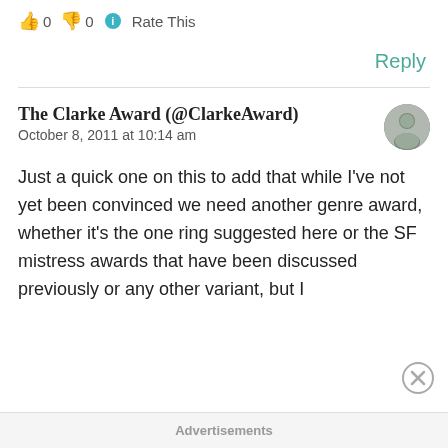👍 0 👎 0 ℹ Rate This
Reply
The Clarke Award (@ClarkeAward)
October 8, 2011 at 10:14 am
Just a quick one on this to add that while I've not yet been convinced we need another genre award, whether it's the one ring suggested here or the SF mistress awards that have been discussed previously or any other variant, but I
Advertisements